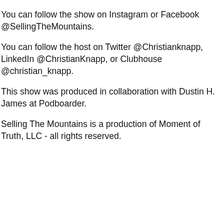You can follow the show on Instagram or Facebook @SellingTheMountains.
You can follow the host on Twitter @Christianknapp, LinkedIn @ChristianKnapp, or Clubhouse @christian_knapp.
This show was produced in collaboration with Dustin H. James at Podboarder.
Selling The Mountains is a production of Moment of Truth, LLC - all rights reserved.